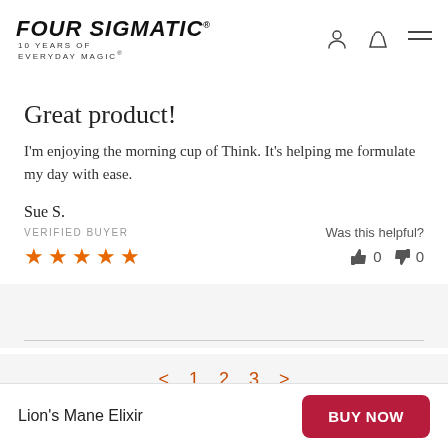FOUR SIGMATIC® 10 YEARS OF EVERYDAY MAGIC®
Great product!
I'm enjoying the morning cup of Think. It's helping me formulate my day with ease.
Sue S.
VERIFIED BUYER
Was this helpful?
👍 0  👎 0
★★★★★
< 1 2 3 >
Lion's Mane Elixir  BUY NOW